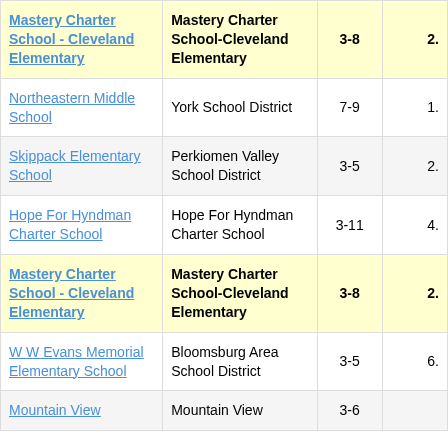| School | District | Grades | Value |
| --- | --- | --- | --- |
| Mastery Charter School - Cleveland Elementary | Mastery Charter School-Cleveland Elementary | 3-8 | 2. |
| Northeastern Middle School | York School District | 7-9 | 1. |
| Skippack Elementary School | Perkiomen Valley School District | 3-5 | 2. |
| Hope For Hyndman Charter School | Hope For Hyndman Charter School | 3-11 | 4. |
| Mastery Charter School - Cleveland Elementary | Mastery Charter School-Cleveland Elementary | 3-8 | 2. |
| W W Evans Memorial Elementary School | Bloomsburg Area School District | 3-5 | 6. |
| Mountain View | Mountain View | 3-6 |  |